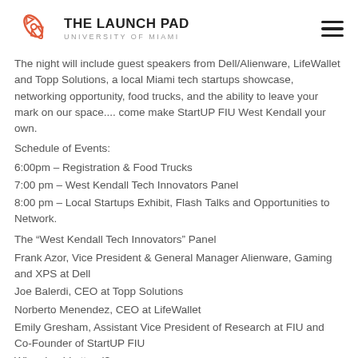THE LAUNCH PAD UNIVERSITY OF MIAMI
The night will include guest speakers from Dell/Alienware, LifeWallet and Topp Solutions, a local Miami tech startups showcase, networking opportunity, food trucks, and the ability to leave your mark on our space.... come make StartUP FIU West Kendall your own.
Schedule of Events:
6:00pm – Registration & Food Trucks
7:00 pm – West Kendall Tech Innovators Panel
8:00 pm – Local Startups Exhibit, Flash Talks and Opportunities to Network.
The “West Kendall Tech Innovators” Panel
Frank Azor, Vice President & General Manager Alienware, Gaming and XPS at Dell
Joe Balerdi, CEO at Topp Solutions
Norberto Menendez, CEO at LifeWallet
Emily Gresham, Assistant Vice President of Research at FIU and Co-Founder of StartUP FIU
Who should attend?